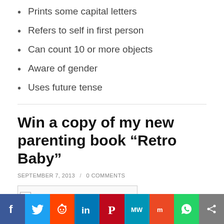Prints some capital letters
Refers to self in first person
Can count 10 or more objects
Aware of gender
Uses future tense
Win a copy of my new parenting book “Retro Baby”
SEPTEMBER 7, 2013 / 0 COMMENTS
[Figure (photo): Broken image placeholder for book or article image]